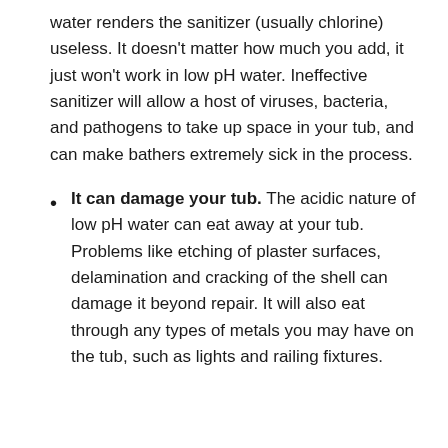water renders the sanitizer (usually chlorine) useless. It doesn't matter how much you add, it just won't work in low pH water. Ineffective sanitizer will allow a host of viruses, bacteria, and pathogens to take up space in your tub, and can make bathers extremely sick in the process.
It can damage your tub. The acidic nature of low pH water can eat away at your tub. Problems like etching of plaster surfaces, delamination and cracking of the shell can damage it beyond repair. It will also eat through any types of metals you may have on the tub, such as lights and railing fixtures.